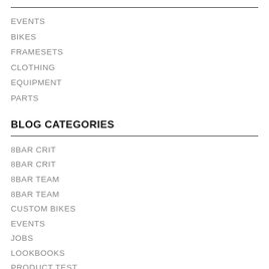EVENTS
BIKES
FRAMESETS
CLOTHING
EQUIPMENT
PARTS
BLOG CATEGORIES
8BAR CRIT
8BAR CRIT
8BAR TEAM
8BAR TEAM
CUSTOM BIKES
EVENTS
JOBS
LOOKBOOKS
PRODUCT TEST
PRODUCTS
RACES